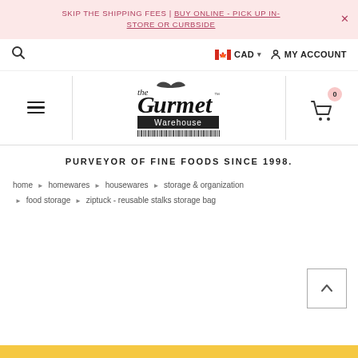SKIP THE SHIPPING FEES | BUY ONLINE - PICK UP IN-STORE OR CURBSIDE
CAD  MY ACCOUNT
[Figure (logo): The Gourmet Warehouse logo with barcode]
PURVEYOR OF FINE FOODS SINCE 1998.
home > homewares > housewares > storage & organization > food storage > ziptuck - reusable stalks storage bag